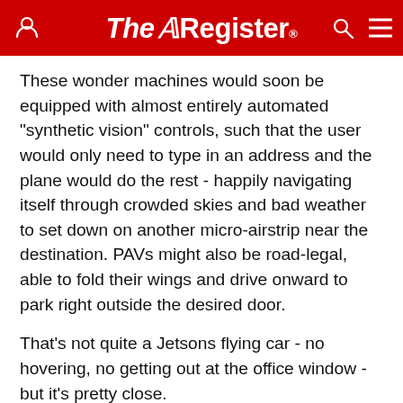The Register
These wonder machines would soon be equipped with almost entirely automated "synthetic vision" controls, such that the user would only need to type in an address and the plane would do the rest - happily navigating itself through crowded skies and bad weather to set down on another micro-airstrip near the destination. PAVs might also be road-legal, able to fold their wings and drive onward to park right outside the desired door.
That's not quite a Jetsons flying car - no hovering, no getting out at the office window - but it's pretty close.
But such fripperies are out of tune with the times, it seems. Nowadays, nobody's interested in technology